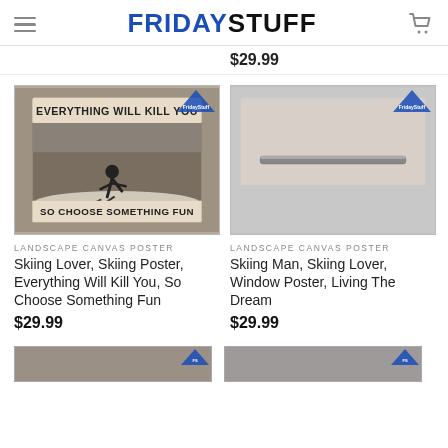FRIDAYSTUFF
$29.99
[Figure (photo): Skiing poster: skier going downhill, text reads EVERYTHING WILL KILL YOU SO CHOOSE SOMETHING FUN, vintage sepia tone, FridayStuff watermark]
LANDSCAPE CANVAS POSTER
Skiing Lover, Skiing Poster, Everything Will Kill You, So Choose Something Fun
$29.99
[Figure (photo): Partial product image showing a framed/mounted canvas with FridayStuff watermark, window/bar partially visible]
LANDSCAPE CANVAS POSTER
Skiing Man, Skiing Lover, Window Poster, Living The Dream
$29.99
[Figure (photo): Bottom left thumbnail product image, partially visible]
[Figure (photo): Bottom right thumbnail product image, partially visible]